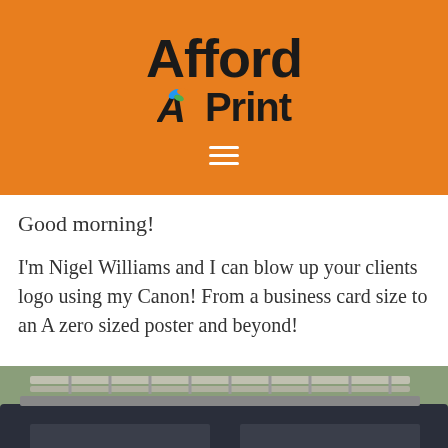[Figure (logo): AffordAPrint logo on orange background with hamburger menu icon]
Good morning!
I'm Nigel Williams and I can blow up your clients logo using my Canon! From a business card size to an A zero sized poster and beyond!
[Figure (photo): A dark van with 'Spruce Springclean' written in white cursive lettering on the rear windows, with a ladder rack on top, parked outdoors with trees in the background.]